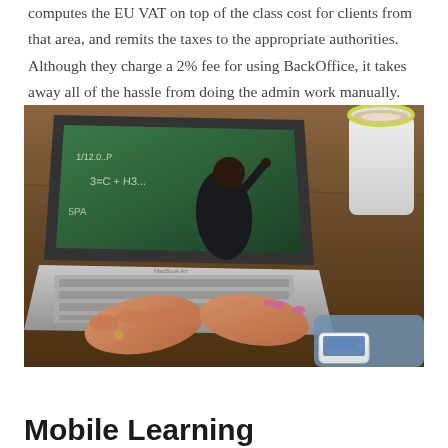computes the EU VAT on top of the class cost for clients from that area, and remits the taxes to the appropriate authorities. Although they charge a 2% fee for using BackOffice, it takes away all of the hassle from doing the admin work manually.
[Figure (photo): A person typing on a MacBook Air laptop displaying a video lecture of a teacher writing on a chalkboard. A coffee cup and smartphone are visible on the wooden desk beside the laptop.]
Mobile Learning